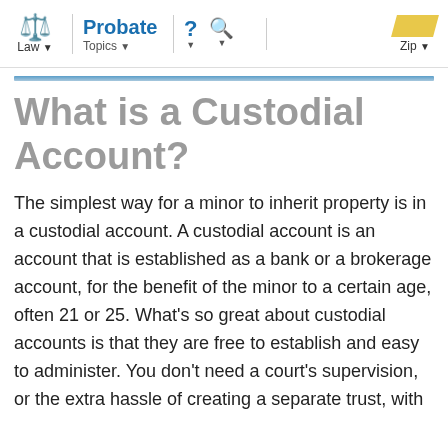Law | Probate Topics | ? | Search | Zip
What is a Custodial Account?
The simplest way for a minor to inherit property is in a custodial account. A custodial account is an account that is established as a bank or a brokerage account, for the benefit of the minor to a certain age, often 21 or 25. What's so great about custodial accounts is that they are free to establish and easy to administer. You don't need a court's supervision, or the extra hassle of creating a separate trust, with its own tax identification number and need for